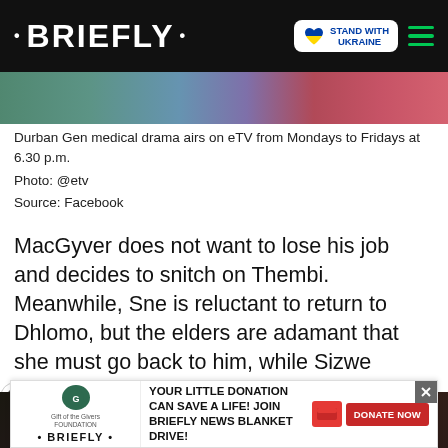• BRIEFLY •
[Figure (photo): News image strip showing colorful background scene]
Durban Gen medical drama airs on eTV from Mondays to Fridays at 6.30 p.m.
Photo: @etv
Source: Facebook
MacGyver does not want to lose his job and decides to snitch on Thembi. Meanwhile, Sne is reluctant to return to Dhlomo, but the elders are adamant that she must go back to him, while Sizwe proves that age is just a number when it comes to love.
[Figure (photo): Video advertisement thumbnail showing two women with text THE MOST HATED ACTRESS]
[Figure (infographic): Bottom banner: Gift of the Givers / Briefly donation drive - YOUR LITTLE DONATION CAN SAVE A LIFE! JOIN BRIEFLY NEWS BLANKET DRIVE! DONATE NOW]